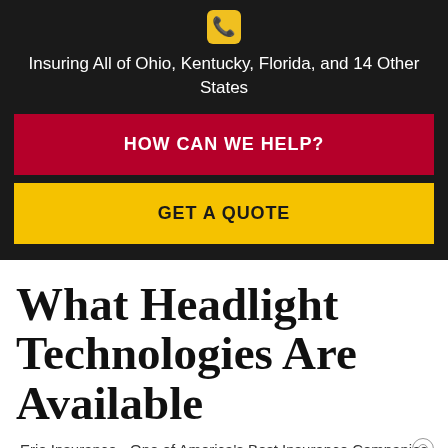[Figure (other): Phone handset icon in a yellow/gold rounded square]
Insuring All of Ohio, Kentucky, Florida, and 14 Other States
HOW CAN WE HELP?
GET A QUOTE
What Headlight Technologies Are Available
Erie Insurance - One of America's Best Insurance Companies